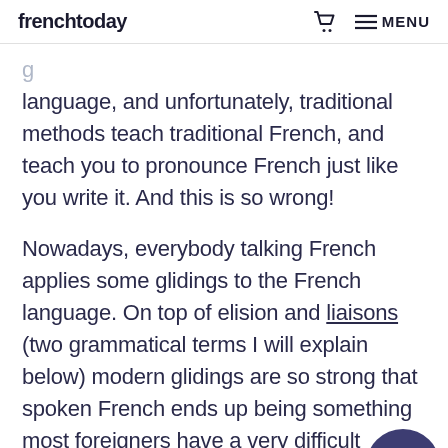frenchtoday  MENU
language, and unfortunately, traditional methods teach traditional French, and teach you to pronounce French just like you write it. And this is so wrong!
Nowadays, everybody talking French applies some glidings to the French language. On top of elision and liaisons (two grammatical terms I will explain below) modern glidings are so strong that spoken French ends up being something most foreigners have a very difficult